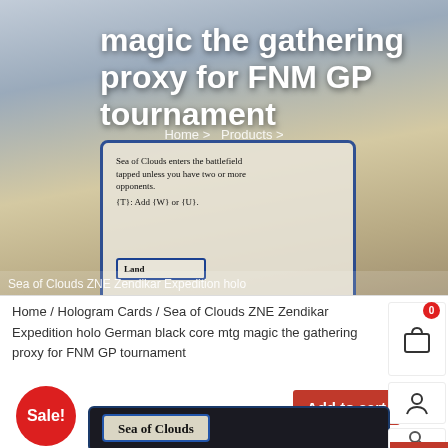[Figure (screenshot): Magic the Gathering proxy card product page hero image showing a MTG card (Sea of Clouds ZNE Zendikar Expedition) with overlay text reading 'magic the gathering proxy for FNM GP tournament' and navigation 'Home > Products >']
Sea of Clouds ZNE Zendikar Expedition holo
Home / Hologram Cards / Sea of Clouds ZNE Zendikar Expedition holo German black core mtg magic the gathering proxy for FNM GP tournament
[Figure (screenshot): Bottom portion of product page showing Sale! badge, Add to cart button, cart icon with 0 badge, user icon, search icon, and a partial view of a second Magic the Gathering card showing 'Sea of Clouds' name plate on dark background]